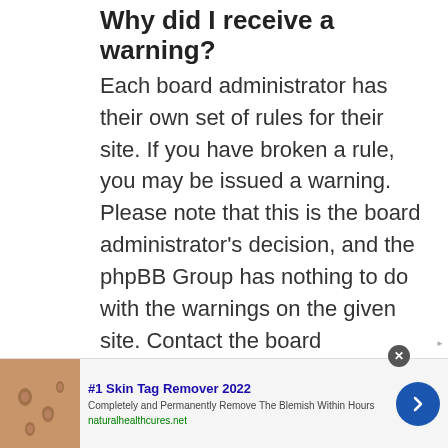Why did I receive a warning?
Each board administrator has their own set of rules for their site. If you have broken a rule, you may be issued a warning. Please note that this is the board administrator's decision, and the phpBB Group has nothing to do with the warnings on the given site. Contact the board administrator if you are unsure about why you were issued a warning.
[Figure (infographic): Advertisement banner: #1 Skin Tag Remover 2022. Image of skin with tags on left. Text: Completely and Permanently Remove The Blemish Within Hours. URL: naturalhealthcures.net. Blue circle arrow button on right. Close button (X) at top. AdChoices icon.]